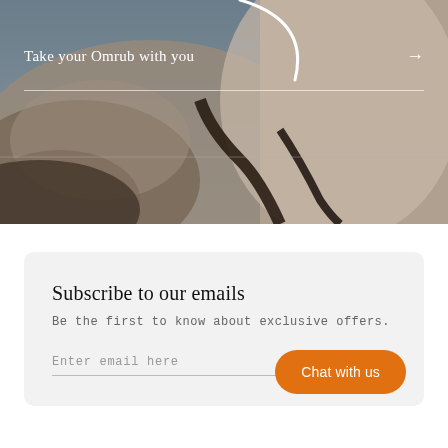[Figure (photo): Aerial photograph of a sandy coastal landscape with dark cracks/channels running through it, used as a hero background image. A partial white curved shape is visible at the top.]
Take your Omrub with you →
Subscribe to our emails
Be the first to know about exclusive offers.
Enter email here
Chat with us